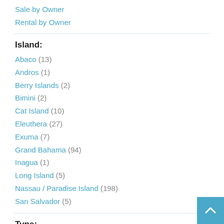Sale by Owner
Rental by Owner
Island:
Abaco (13)
Andros (1)
Berry Islands (2)
Bimini (2)
Cat Island (10)
Eleuthera (27)
Exuma (7)
Grand Bahama (94)
Inagua (1)
Long Island (5)
Nassau / Paradise Island (198)
San Salvador (5)
Type: